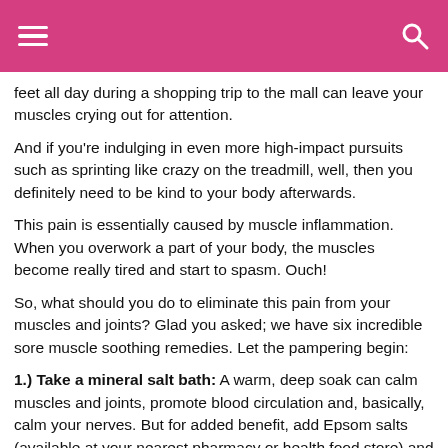≡  🔍
feet all day during a shopping trip to the mall can leave your muscles crying out for attention.
And if you're indulging in even more high-impact pursuits such as sprinting like crazy on the treadmill, well, then you definitely need to be kind to your body afterwards.
This pain is essentially caused by muscle inflammation. When you overwork a part of your body, the muscles become really tired and start to spasm. Ouch!
So, what should you do to eliminate this pain from your muscles and joints? Glad you asked; we have six incredible sore muscle soothing remedies. Let the pampering begin:
1.) Take a mineral salt bath: A warm, deep soak can calm muscles and joints, promote blood circulation and, basically, calm your nerves. But for added benefit, add Epsom salts (available at your nearest pharmacy or health food store) and eucalyptus oil to the bath water. The magnesium sulfate